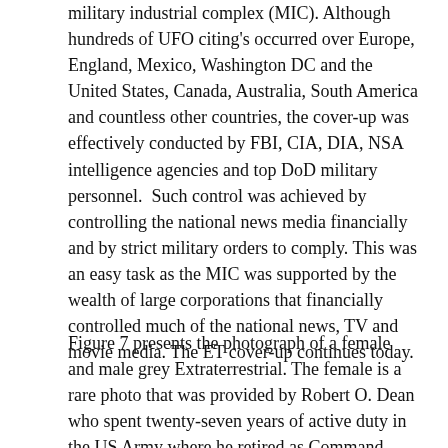military industrial complex (MIC). Although hundreds of UFO citing's occurred over Europe, England, Mexico, Washington DC and the United States, Canada, Australia, South America and countless other countries, the cover-up was effectively conducted by FBI, CIA, DIA, NSA intelligence agencies and top DoD military personnel.  Such control was achieved by controlling the national news media financially and by strict military orders to comply. This was an easy task as the MIC was supported by the wealth of large corporations that financially controlled much of the national news, TV and movie media. The ET cover-up continues today.
Figure 7 presents the photograph of a female and male grey Extraterrestrial. The female is a rare photo that was provided by Robert O. Dean who spent twenty-seven years of active duty in the US Army where he retired as Command Sergeant Major